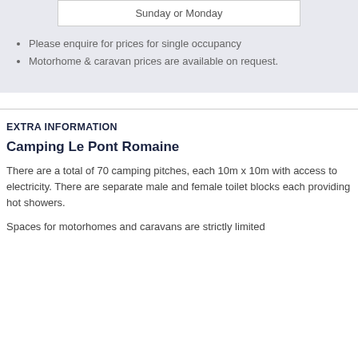| Sunday or Monday |
Please enquire for prices for single occupancy
Motorhome & caravan prices are available on request.
EXTRA INFORMATION
Camping Le Pont Romaine
There are a total of 70 camping pitches, each 10m x 10m with access to electricity. There are separate male and female toilet blocks each providing hot showers.
Spaces for motorhomes and caravans are strictly limited